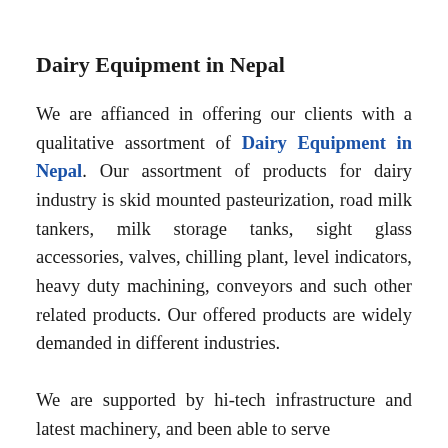Dairy Equipment in Nepal
We are affianced in offering our clients with a qualitative assortment of Dairy Equipment in Nepal. Our assortment of products for dairy industry is skid mounted pasteurization, road milk tankers, milk storage tanks, sight glass accessories, valves, chilling plant, level indicators, heavy duty machining, conveyors and such other related products. Our offered products are widely demanded in different industries.
We are supported by hi-tech infrastructure and latest machinery, and been able to serve